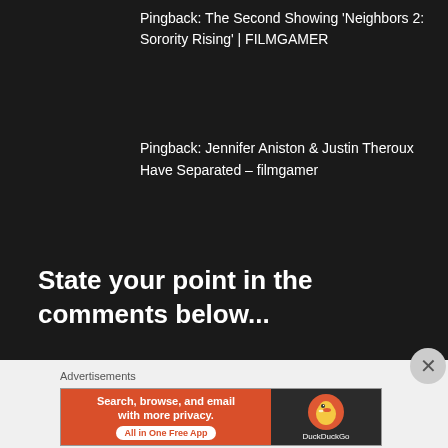Pingback: The Second Showing 'Neighbors 2: Sorority Rising' | FILMGAMER
Pingback: Jennifer Aniston & Justin Theroux Have Separated – filmgamer
State your point in the comments below...
Advertisements
[Figure (screenshot): DuckDuckGo advertisement banner: orange left panel with text 'Search, browse, and email with more privacy. All in One Free App' and black right panel with DuckDuckGo duck logo and brand name.]